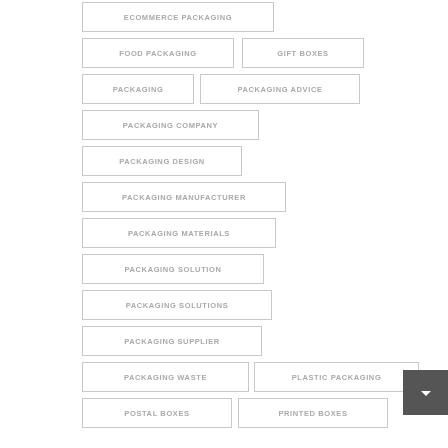ECOMMERCE PACKAGING
FOOD PACKAGING
GIFT BOXES
PACKAGING
PACKAGING ADVICE
PACKAGING COMPANY
PACKAGING DESIGN
PACKAGING MANUFACTURER
PACKAGING MATERIALS
PACKAGING SOLUTION
PACKAGING SOLUTIONS
PACKAGING SUPPLIER
PACKAGING WASTE
PLASTIC PACKAGING
POSTAL BOXES
PRINTED BOXES